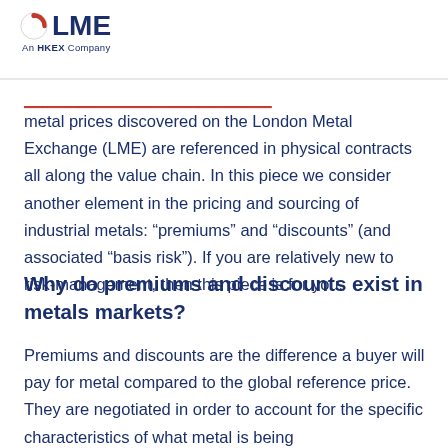[Figure (logo): LME (London Metal Exchange) logo with red circular icon and 'An HKEX Company' tagline]
metal prices discovered on the London Metal Exchange (LME) are referenced in physical contracts all along the value chain. In this piece we consider another element in the pricing and sourcing of industrial metals: “premiums” and “discounts” (and associated “basis risk”). If you are relatively new to risk-management, then this piece is for you.
Why do premiums and discounts exist in metals markets?
Premiums and discounts are the difference a buyer will pay for metal compared to the global reference price. They are negotiated in order to account for the specific characteristics of what metal is being